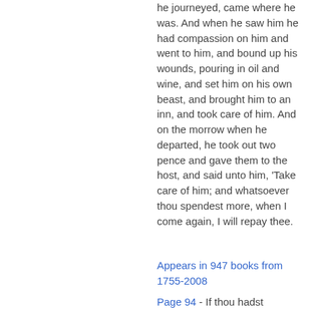he journeyed, came where he was. And when he saw him he had compassion on him and went to him, and bound up his wounds, pouring in oil and wine, and set him on his own beast, and brought him to an inn, and took care of him. And on the morrow when he departed, he took out two pence and gave them to the host, and said unto him, 'Take care of him; and whatsoever thou spendest more, when I come again, I will repay thee.
Appears in 947 books from 1755-2008
Page 94 - If thou hadst